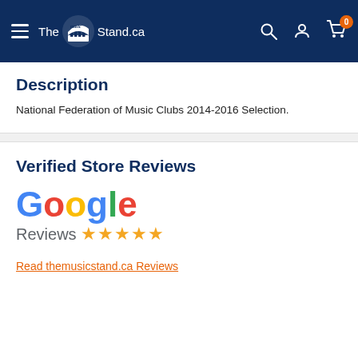The Music Stand.ca — navigation header with hamburger menu, logo, search, account, and cart icons
Description
National Federation of Music Clubs 2014-2016 Selection.
Verified Store Reviews
[Figure (logo): Google Reviews logo with five gold stars]
Read themusicstand.ca Reviews